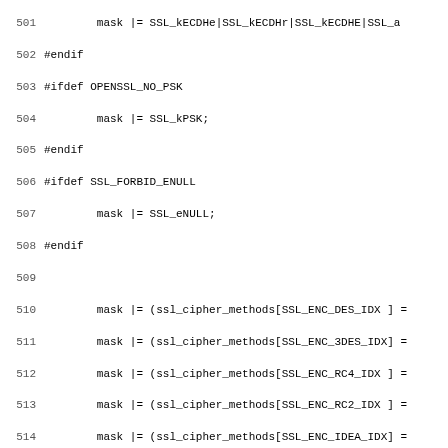[Figure (screenshot): Source code listing in C showing lines 501–532 of an OpenSSL-related file. The code includes preprocessor directives (#endif, #ifdef OPENSSL_NO_PSK, #ifdef SSL_FORBID_ENULL), mask assignments using ssl_cipher_methods and ssl_digest_methods arrays, a return statement, closing brace, and the beginning of a static void ssl_cipher_collect_ciphers function with parameters and local variable declarations.]